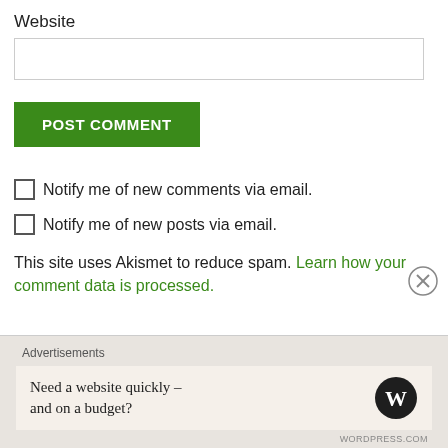Website
[Website input field]
POST COMMENT
Notify me of new comments via email.
Notify me of new posts via email.
This site uses Akismet to reduce spam. Learn how your comment data is processed.
Advertisements
Need a website quickly – and on a budget?